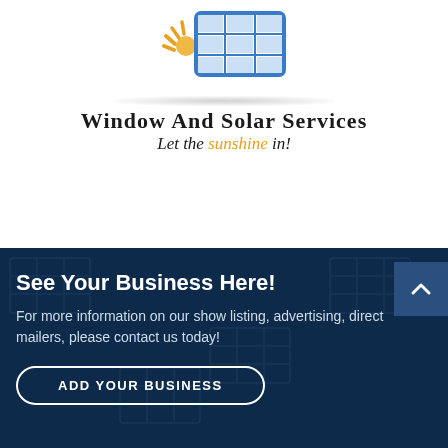[Figure (logo): Window And Solar Services logo featuring a solar panel with sun rays and the company name 'Window And Solar Services' with tagline 'Let the sunshine in!']
See Your Business Here!
For more information on our show listing, advertising, direct mailers, please contact us today!
ADD YOUR BUSINESS